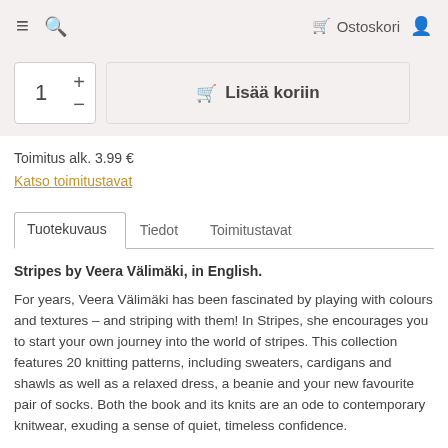≡  🔍  Ostoskori 👤
[Figure (screenshot): Add to cart UI with quantity selector showing '1' with plus and minus buttons, and a cart button labeled 'Lisää koriin']
Toimitus alk. 3.99 €
Katso toimitustavat
Tuotekuvaus  Tiedot  Toimitustavat
Stripes by Veera Välimäki, in English.
For years, Veera Välimäki has been fascinated by playing with colours and textures – and striping with them! In Stripes, she encourages you to start your own journey into the world of stripes. This collection features 20 knitting patterns, including sweaters, cardigans and shawls as well as a relaxed dress, a beanie and your new favourite pair of socks. Both the book and its knits are an ode to contemporary knitwear, exuding a sense of quiet, timeless confidence.